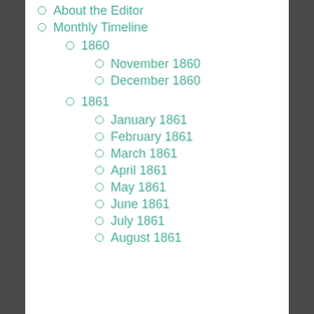About the Editor
Monthly Timeline
1860
November 1860
December 1860
1861
January 1861
February 1861
March 1861
April 1861
May 1861
June 1861
July 1861
August 1861